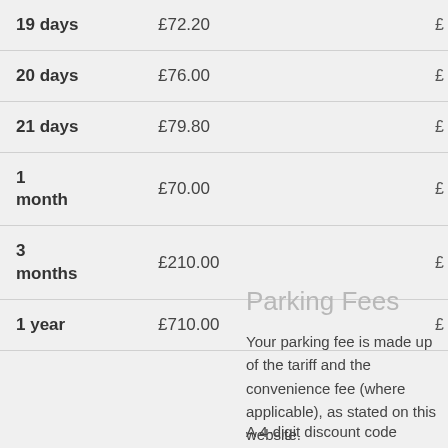| Duration | Price |  |
| --- | --- | --- |
| 19 days | £72.20 | £ |
| 20 days | £76.00 | £ |
| 21 days | £79.80 | £ |
| 1 month | £70.00 | £ |
| 3 months | £210.00 | £ |
| 1 year | £710.00 | £ |
Parking Fees
Your parking fee is made up of the tariff and the convenience fee (where applicable), as stated on this website.
A 4-digit discount code beginning with a 9 may be